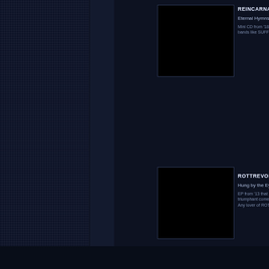[Figure (photo): Album cover thumbnail for REINCARNATIO - Eternal Hymns, black square]
REINCARNATIO
Eternal Hymns
Mini CD from '18 w bands like SUFFO
[Figure (photo): Album cover thumbnail for ROTTREVORE - Hung by the Eyes, black square]
ROTTREVORE
Hung by the Eyes
EP from '13 that triumphant comeba Any lover of ROTT
[Figure (photo): Album cover thumbnail for VIDRES A LA SA - Fragments de l'es, black square]
VIDRES A LA SA
Fragments de l'es
5th album from '22 a progressive touch